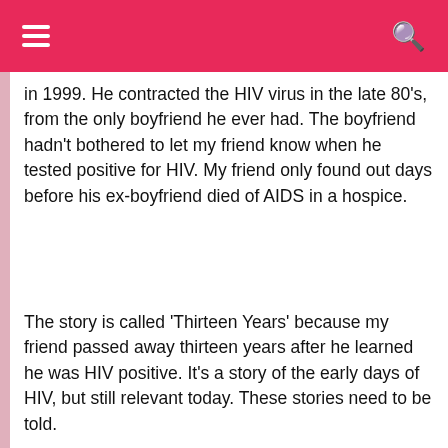≡  [navigation bar]  🔍
in 1999. He contracted the HIV virus in the late 80's, from the only boyfriend he ever had. The boyfriend hadn't bothered to let my friend know when he tested positive for HIV. My friend only found out days before his ex-boyfriend died of AIDS in a hospice.
The story is called 'Thirteen Years' because my friend passed away thirteen years after he learned he was HIV positive. It's a story of the early days of HIV, but still relevant today. These stories need to be told.
Why?
We use cookies on our website to give you the most relevant experience by remembering your preferences and repeat visits. By clicking "Accept", you consent to the use of ALL the cookies. Read Privacy & Cookies Policy
Cookie settings | ACCEPT | REJECT